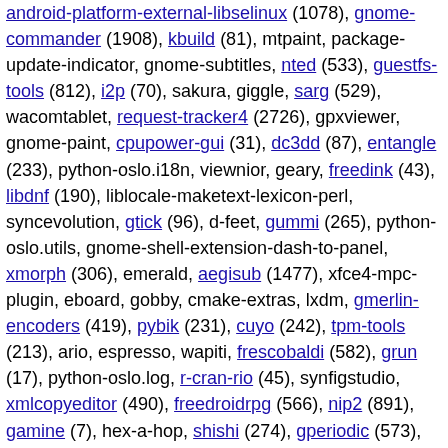android-platform-external-libselinux (1078), gnome-commander (1908), kbuild (81), mtpaint, package-update-indicator, gnome-subtitles, nted (533), guestfs-tools (812), i2p (70), sakura, giggle, sarg (529), wacomtablet, request-tracker4 (2726), gpxviewer, gnome-paint, cpupower-gui (31), dc3dd (87), entangle (233), python-oslo.i18n, viewnior, geary, freedink (43), libdnf (190), liblocale-maketext-lexicon-perl, syncevolution, gtick (96), d-feet, gummi (265), python-oslo.utils, gnome-shell-extension-dash-to-panel, xmorph (306), emerald, aegisub (1477), xfce4-mpc-plugin, eboard, gobby, cmake-extras, lxdm, gmerlin-encoders (419), pybik (231), cuyo (242), tpm-tools (213), ario, espresso, wapiti, frescobaldi (582), grun (17), python-oslo.log, r-cran-rio (45), synfigstudio, xmlcopyeditor (490), freedroidrpg (566), nip2 (891), gamine (7), hex-a-hop, shishi (274), gperiodic (573), quvi (108), vdr, pspp (2448), menu-l10n (3540), kamoso, gringotts (237), xiphos (1140), ktimetracker, xbubble (59), openclonk, novnc (68), abook (210), drawing (468), godot (2840), ibus-hangul (30),